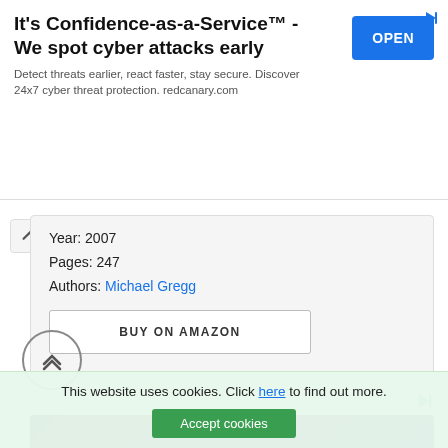[Figure (other): Advertisement banner: 'It's Confidence-as-a-Service™ - We spot cyber attacks early' with blue OPEN button. Detect threats earlier, react faster, stay secure. Discover 24x7 cyber threat protection. redcanary.com]
Year: 2007
Pages: 247
Authors: Michael Gregg
BUY ON AMAZON
[Figure (other): Advertisement banner with dark blue/purple gradient background showing 'Instant BI at Massive Scale' text in white]
This website uses cookies. Click here to find out more.
Accept cookies